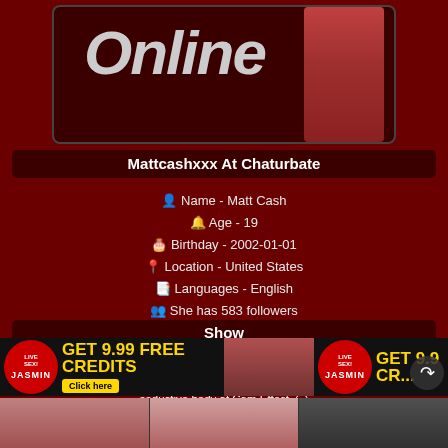[Figure (screenshot): Top banner with 'Online' text and a model image on dark red background]
Mattcashxxx At Chaturbate
Name - Matt Cash
Age - 19
Birthday - 2002-01-01
Location - United States
Languages - English
She has 583 followers
Show
Mattcashxxx is amazing teenage cam girl which prefers couple live sex show. She likes broadcast webcam sex show and she will surprise you with high skill of to be fun and sexy in live chat. She will also be happy to show you her beautiful seductive body at Cam Effect.
'CRAZYTICKET': HIDDEN CAM SHOW HAS ENDED. TYPE /CMDS TO SEE ALL COMMANDS.
[Figure (screenshot): Ad banner: GET 9.99 FREE CREDITS - Jasmin live sex advertisement with Click here button]